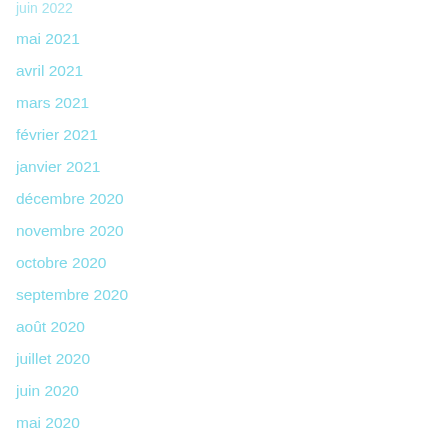juin 2022
mai 2021
avril 2021
mars 2021
février 2021
janvier 2021
décembre 2020
novembre 2020
octobre 2020
septembre 2020
août 2020
juillet 2020
juin 2020
mai 2020